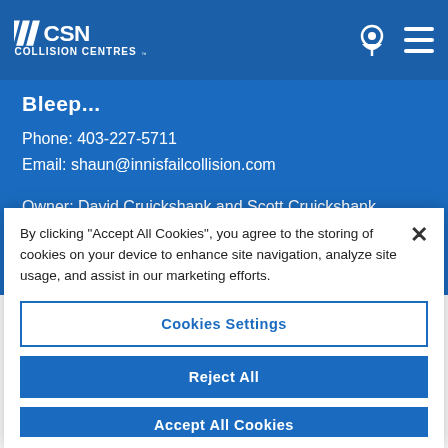CSN Collision Centres
Bleep...
Phone: 403-227-5711
Email: shaun@innisfailcollision.com
Owner: David Cruickshank and Scott Cruickshank
By clicking "Accept All Cookies", you agree to the storing of cookies on your device to enhance site navigation, analyze site usage, and assist in our marketing efforts.
Cookies Settings
Reject All
Accept All Cookies